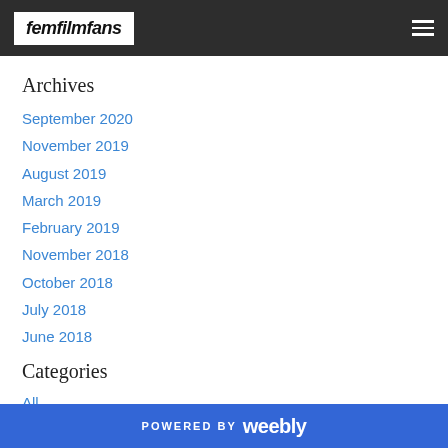femfilmfans
Archives
September 2020
November 2019
August 2019
March 2019
February 2019
November 2018
October 2018
July 2018
June 2018
Categories
All
Events
POWERED BY weebly